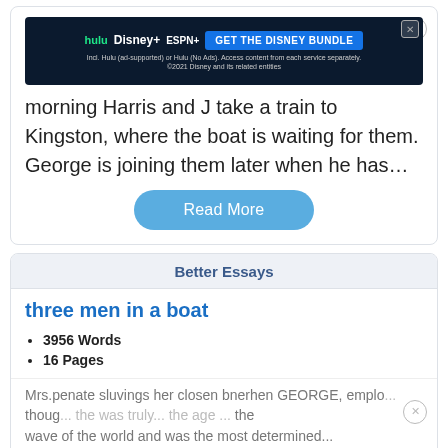(except... for boating... the morning Harris and J take a train to Kingston, where the boat is waiting for them. George is joining them later when he has...
Read More
Better Essays
three men in a boat
3956 Words
16 Pages
Mrs. penate slipping her closen brachen GEORGE, emplo... though... the was truly... the age ... the wave of the world and was the most determined...